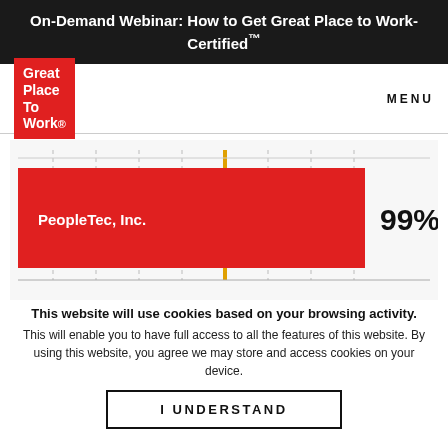On-Demand Webinar: How to Get Great Place to Work-Certified™
[Figure (other): Great Place To Work logo — white text on red background]
MENU
[Figure (bar-chart): PeopleTec, Inc.]
This website will use cookies based on your browsing activity.
This will enable you to have full access to all the features of this website. By using this website, you agree we may store and access cookies on your device.
I UNDERSTAND